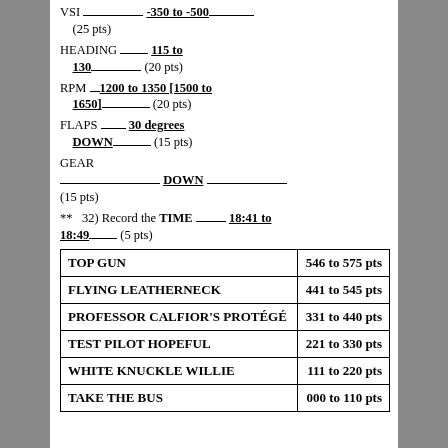VSI -350 to -500 (25 pts)
HEADING 115 to 130 (20 pts)
RPM 1200 to 1350 [1500 to 1650] (20 pts)
FLAPS 30 degrees DOWN (15 pts)
GEAR DOWN (15 pts)
** 32) Record the TIME 18:41 to 18:49 (5 pts)
| Category | Points |
| --- | --- |
| TOP GUN | 546 to 575 pts |
| FLYING LEATHERNECK | 441 to 545 pts |
| PROFESSOR CALFIOR'S PROTÉGÉ | 331 to 440 pts |
| TEST PILOT HOPEFUL | 221 to 330 pts |
| WHITE KNUCKLE WILLIE | 111 to 220 pts |
| TAKE THE BUS | 000 to 110 pts |